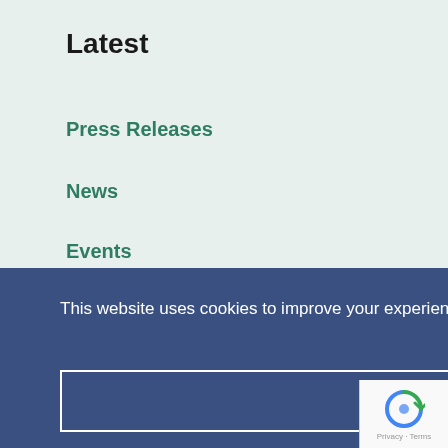Latest
Press Releases
News
Events
Job Opportunities
Strategy
This website uses cookies to improve your experience.  Learn more
Got it!